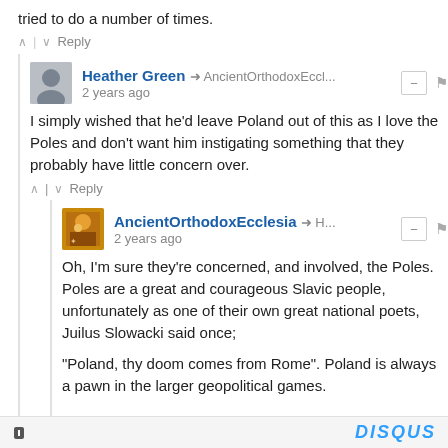tried to do a number of times.
Heather Green → AncientOrthodoxEccl... 2 years ago
I simply wished that he'd leave Poland out of this as I love the Poles and don't want him instigating something that they probably have little concern over.
AncientOrthodoxEcclesia → H... 2 years ago
Oh, I'm sure they're concerned, and involved, the Poles. Poles are a great and courageous Slavic people, unfortunately as one of their own great national poets, Juilus Slowacki said once;

"Poland, thy doom comes from Rome". Poland is always a pawn in the larger geopolitical games.